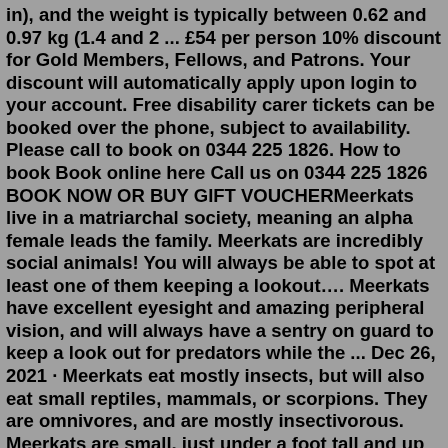in), and the weight is typically between 0.62 and 0.97 kg (1.4 and 2 ... £54 per person 10% discount for Gold Members, Fellows, and Patrons. Your discount will automatically apply upon login to your account. Free disability carer tickets can be booked over the phone, subject to availability. Please call to book on 0344 225 1826. How to book Book online here Call us on 0344 225 1826 BOOK NOW OR BUY GIFT VOUCHERMeerkats live in a matriarchal society, meaning an alpha female leads the family. Meerkats are incredibly social animals! You will always be able to spot at least one of them keeping a lookout…. Meerkats have excellent eyesight and amazing peripheral vision, and will always have a sentry on guard to keep a look out for predators while the ... Dec 26, 2021 · Meerkats eat mostly insects, but will also eat small reptiles, mammals, or scorpions. They are omnivores, and are mostly insectivorous. Meerkats are small, just under a foot tall and up to two pounds at adulthood. They are members of the mongoose family and live in large groups called mobs